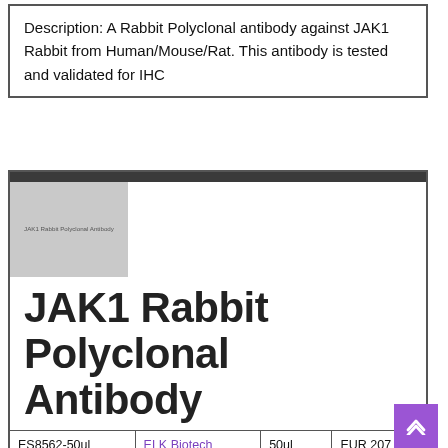Description: A Rabbit Polyclonal antibody against JAK1 Rabbit from Human/Mouse/Rat. This antibody is tested and validated for IHC
[Figure (other): Product card showing a grey placeholder thumbnail image labeled 'JAK1 Rabbit Polyclonal Antibody' with the product title 'JAK1 Rabbit Polyclonal Antibody' in large bold text]
JAK1 Rabbit Polyclonal Antibody
| ES8562-50ul | ELK Biotech | 50ul | EUR 207 |
| --- | --- | --- | --- |